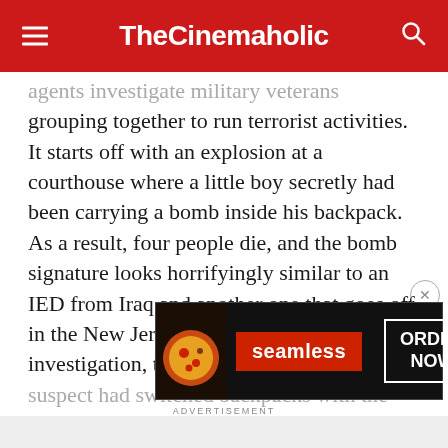TheCinemaholic
agents investigate military veterans grouping together to run terrorist activities. It starts off with an explosion at a courthouse where a little boy secretly had been carrying a bomb inside his backpack. As a result, four people die, and the bomb signature looks horrifyingly similar to an IED from Iraq and another one that goes off in the New Jersey IRS building. On deeper investigation, the agents realize that the suspect had switched backpacks with the little b[oy]
[Figure (screenshot): Seamless food delivery advertisement banner with pizza image on the left, red 'seamless' logo in center, and 'ORDER NOW' button on the right, on a dark background]